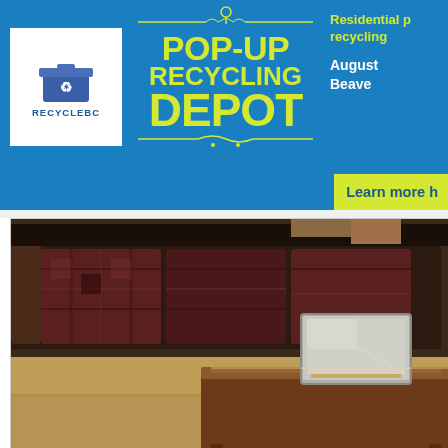[Figure (logo): RecycleBC logo: blue recycling bin with recycling symbol, text RECYCLEBC below in blue]
POP-UP RECYCLING DEPOT
Residential p... recycling...
August... Beaverton...
Learn more h...
[Figure (photo): Interior room photo showing a sofa/couch with patterned fabric covering, a wooden coffee table, and what appears to be a box or electronic device on the table. The floor is light colored carpet.]